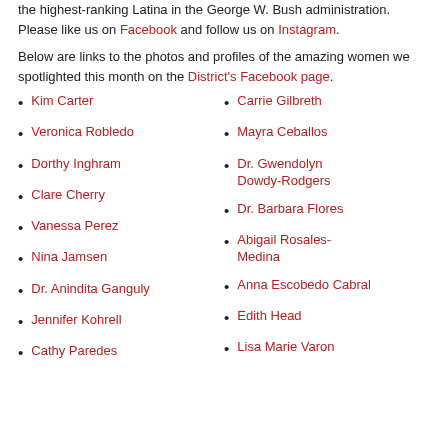the highest-ranking Latina in the George W. Bush administration. Please like us on Facebook and follow us on Instagram.
Below are links to the photos and profiles of the amazing women we spotlighted this month on the District's Facebook page.
Kim Carter
Veronica Robledo
Dorthy Inghram
Clare Cherry
Vanessa Perez
Nina Jamsen
Dr. Anindita Ganguly
Jennifer Kohrell
Cathy Paredes
Carrie Gilbreth
Mayra Ceballos
Dr. Gwendolyn Dowdy-Rodgers
Dr. Barbara Flores
Abigail Rosales-Medina
Anna Escobedo Cabral
Edith Head
Lisa Marie Varon